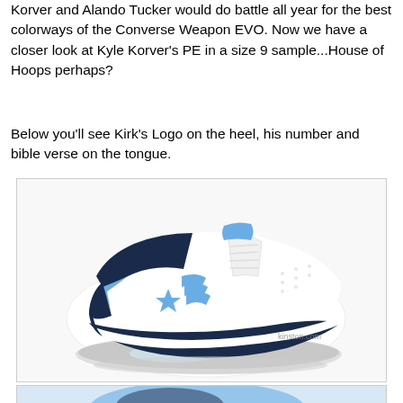Korver and Alando Tucker would do battle all year for the best colorways of the Converse Weapon EVO. Now we have a closer look at Kyle Korver's PE in a size 9 sample...House of Hoops perhaps?
Below you'll see Kirk's Logo on the heel, his number and bible verse on the tongue.
[Figure (photo): A Converse Weapon EVO basketball sneaker in white, light blue, and navy colorway, shown from a side angle. The shoe features the Converse star-chevron logo in light blue on the side panel. Watermark reads 'kinston.com'.]
[Figure (photo): Partial view of another Converse Weapon EVO sneaker in light blue and navy, showing the top/tongue area of the shoe.]